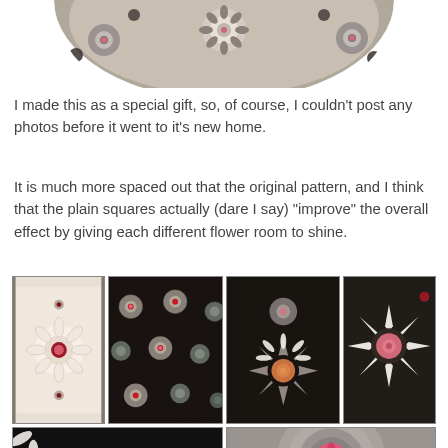[Figure (photo): Top cropped circular view of a knitted/crocheted blanket with floral motifs in black, white, pink and grey, showing decorative flowers arranged in a pattern]
I made this as a special gift, so, of course, I couldn't post any photos before it went to it's new home.
It is much more spaced out that the original pattern, and I think that the plain squares actually (dare I say) "improve" the overall effect by giving each different flower room to shine.
[Figure (photo): Four photos in top row showing close-ups of a crocheted blanket with flower motifs on dark background — left to right: full blanket view, diagonal overhead view of pattern, close-up of large star flower, single spiked flower close-up]
[Figure (photo): Two photos in bottom row: left shows dark knit border detail with white edging, right shows a bright pink rose/flower center on grey crocheted background]